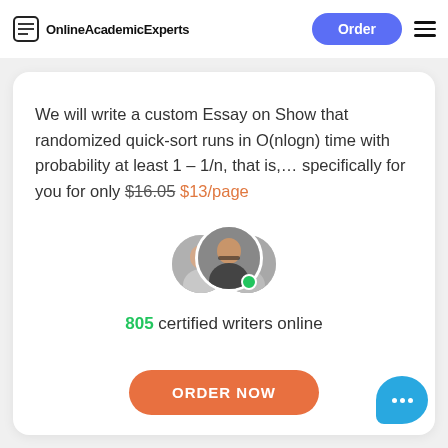OnlineAcademicExperts | Order
We will write a custom Essay on Show that randomized quick-sort runs in O(nlogn) time with probability at least 1 – 1/n, that is,… specifically for you for only $16.05 $13/page
[Figure (photo): Three overlapping circular avatar photos of writers, with a green online status dot]
805 certified writers online
ORDER NOW